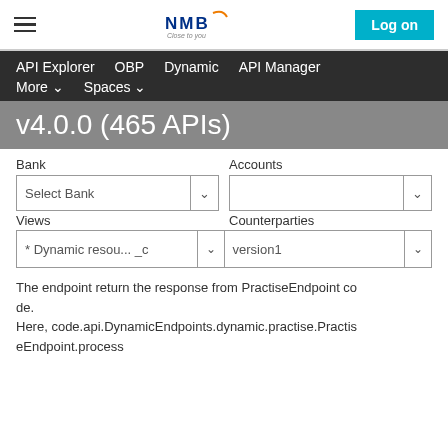NMB — Close to you — Log on
API Explorer   OBP   Dynamic   API Manager   More ∨   Spaces ∨
v4.0.0 (465 APIs)
Bank   Accounts   Select Bank   Views   Counterparties
* Dynamic resou... _c version1
The endpoint return the response from PractiseEndpoint code.
Here, code.api.DynamicEndpoints.dynamic.practise.PractiseEndpoint.process